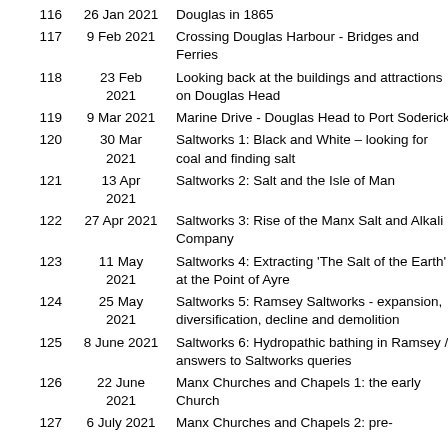| # | Date | Title |
| --- | --- | --- |
| 116 | 26 Jan 2021 | Douglas in 1865 |
| 117 | 9 Feb 2021 | Crossing Douglas Harbour - Bridges and Ferries |
| 118 | 23 Feb 2021 | Looking back at the buildings and attractions on Douglas Head |
| 119 | 9 Mar 2021 | Marine Drive - Douglas Head to Port Soderick |
| 120 | 30 Mar 2021 | Saltworks 1: Black and White – looking for coal and finding salt |
| 121 | 13 Apr 2021 | Saltworks 2: Salt and the Isle of Man |
| 122 | 27 Apr 2021 | Saltworks 3: Rise of the Manx Salt and Alkali Company |
| 123 | 11 May 2021 | Saltworks 4: Extracting 'The Salt of the Earth' at the Point of Ayre |
| 124 | 25 May 2021 | Saltworks 5: Ramsey Saltworks - expansion, diversification, decline and demolition |
| 125 | 8 June 2021 | Saltworks 6: Hydropathic bathing in Ramsey / answers to Saltworks queries |
| 126 | 22 June 2021 | Manx Churches and Chapels 1: the early Church |
| 127 | 6 July 2021 | Manx Churches and Chapels 2: pre- |